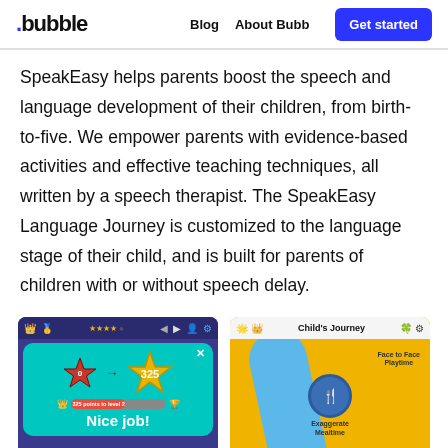.bubble  Blog  About Bubb  Get started
SpeakEasy helps parents boost the speech and language development of their children, from birth-to-five. We empower parents with evidence-based activities and effective teaching techniques, all written by a speech therapist. The SpeakEasy Language Journey is customized to the language stage of their child, and is built for parents of children with or without speech delay.
[Figure (screenshot): Mobile app screenshot showing a teal popup with two stars (0 and 325) and text 'Nice job!' on a dark blue background, with a progress bar showing '325 points to level 2']
[Figure (screenshot): Mobile app screenshot showing 'Child's Journey' screen with a yellow background, a blue winding path, and journey nodes including 'Face to Face Playtime' and 'Exaggerate Mealtime']